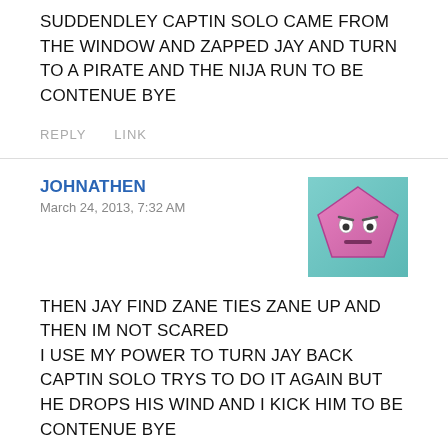SUDDENDLEY CAPTIN SOLO CAME FROM THE WINDOW AND ZAPPED JAY AND TURN TO A PIRATE AND THE NIJA RUN TO BE CONTENUE BYE
REPLY    LINK
JOHNATHEN
March 24, 2013, 7:32 AM
[Figure (illustration): Avatar image showing a pink pentagon-shaped cartoon character with a grumpy face]
THEN JAY FIND ZANE TIES ZANE UP AND THEN IM NOT SCARED
I USE MY POWER TO TURN JAY BACK CAPTIN SOLO TRYS TO DO IT AGAIN BUT HE DROPS HIS WIND AND I KICK HIM TO BE CONTENUE BYE